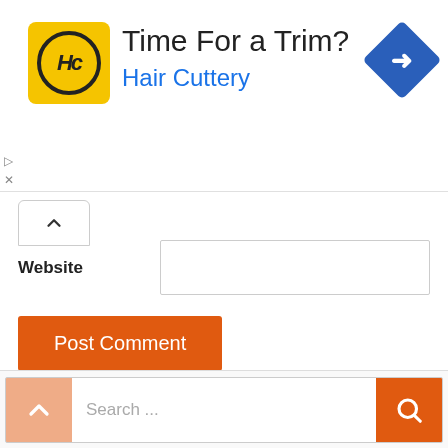[Figure (infographic): Hair Cuttery advertisement banner with yellow HC logo, 'Time For a Trim?' headline, 'Hair Cuttery' brand in blue, and a blue navigation/direction diamond icon on the right.]
Website
Post Comment
This site uses Akismet to reduce spam. Learn how your comment data is processed.
Search ...